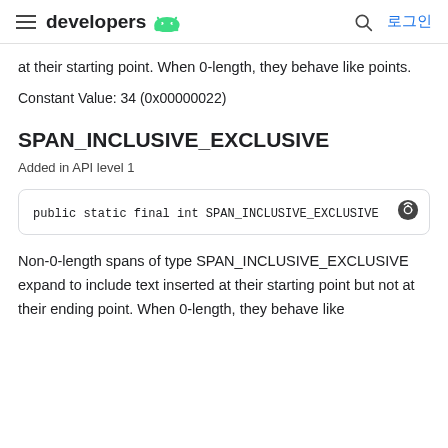developers [android logo] | [search icon] 로그인
at their starting point. When 0-length, they behave like points.
Constant Value: 34 (0x00000022)
SPAN_INCLUSIVE_EXCLUSIVE
Added in API level 1
public static final int SPAN_INCLUSIVE_EXCLUSIVE
Non-0-length spans of type SPAN_INCLUSIVE_EXCLUSIVE expand to include text inserted at their starting point but not at their ending point. When 0-length, they behave like